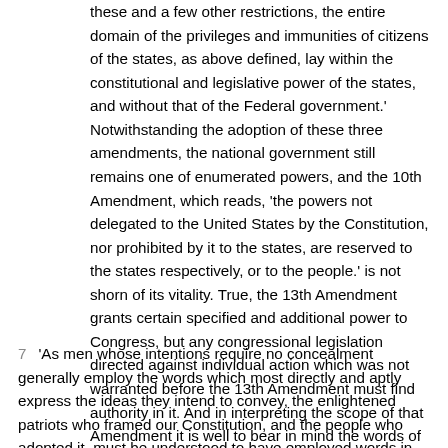these and a few other restrictions, the entire domain of the privileges and immunities of citizens of the states, as above defined, lay within the constitutional and legislative power of the states, and without that of the Federal government.' Notwithstanding the adoption of these three amendments, the national government still remains one of enumerated powers, and the 10th Amendment, which reads, 'the powers not delegated to the United States by the Constitution, nor prohibited by it to the states, are reserved to the states respectively, or to the people.' is not shorn of its vitality. True, the 13th Amendment grants certain specified and additional power to Congress, but any congressional legislation directed against individual action which was not warranted before the 13th Amendment must find authority in it. And in interpreting the scope of that Amendment it is well to bear in mind the words of Mr. Chief Justice Marshall, shall, in Gibbons v. Ogden, 9 Wheat. 1, 188, 6 L. ed. 23, 68, which, though spoken more than four score years ago, are still the rule of construction of constitutional provisions:
'As men whose intentions require no concealment generally employ the words which most directly and aptly express the ideas they intend to convey, the enlightened patriots who framed our Constitution, and the people who adopted it, must be understood to have employed words in their natural sense, and to have intended